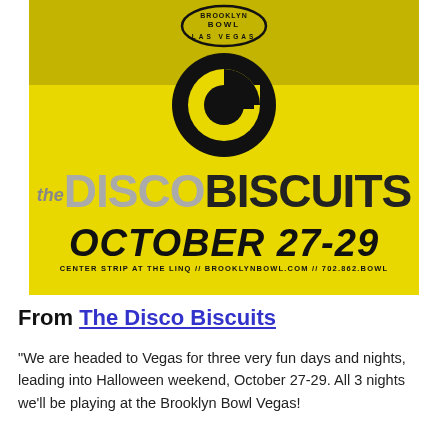[Figure (illustration): Concert promotional poster for The Disco Biscuits at Brooklyn Bowl Las Vegas, October 27-29. Yellow background with band logo, circular G icon, band name in large text, date, and venue info.]
From The Disco Biscuits
"We are headed to Vegas for three very fun days and nights, leading into Halloween weekend, October 27-29. All 3 nights we'll be playing at the Brooklyn Bowl Vegas!